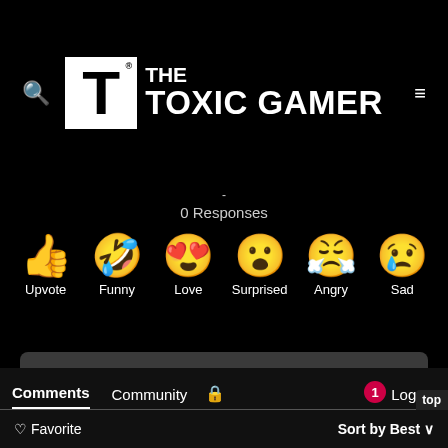[Figure (logo): The Toxic Gamer logo: white square with black T letter, text THE TOXIC GAMER]
0 Responses
[Figure (infographic): Six reaction emojis: Thumbs up (Upvote), laughing face with tongue (Funny), heart eyes (Love), surprised face (Surprised), angry face with steam (Angry), crying face (Sad)]
thetoxicgamer Comment Policy
We welcome all toxic comments, external links are not allowed.
Comments   Community   🔒   1   Log To   top
♡ Favorite   Sort by Best ∨